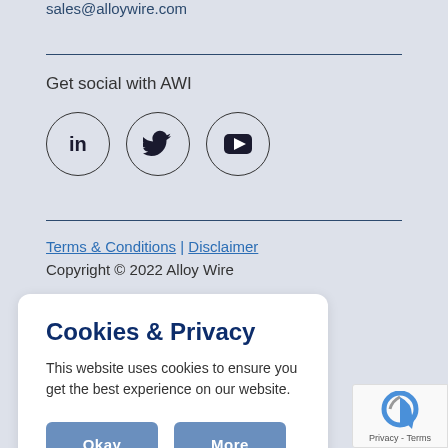sales@alloywire.com
Get social with AWI
[Figure (illustration): Three social media icons in circles: LinkedIn (in), Twitter (bird), YouTube (play button)]
Terms & Conditions | Disclaimer
Copyright © 2022 Alloy Wire
Cookies & Privacy
This website uses cookies to ensure you get the best experience on our website.
Okay  More
[Figure (logo): reCAPTCHA logo with Privacy - Terms text]